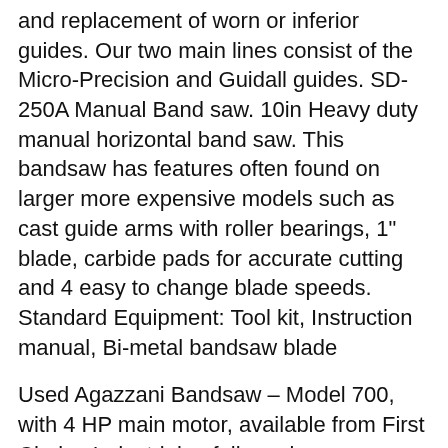and replacement of worn or inferior guides. Our two main lines consist of the Micro-Precision and Guidall guides. SD-250A Manual Band saw. 10in Heavy duty manual horizontal band saw. This bandsaw has features often found on larger more expensive models such as cast guide arms with roller bearings, 1" blade, carbide pads for accurate cutting and 4 easy to change blade speeds. Standard Equipment: Tool kit, Instruction manual, Bi-metal bandsaw blade
Used Agazzani Bandsaw – Model 700, with 4 HP main motor, available from First Choice Industrial, a full-service woodworking machinery distributor in